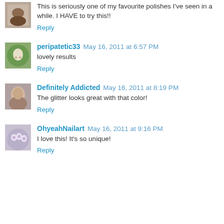This is seriously one of my favourite polishes I've seen in a while. I HAVE to try this!!
Reply
peripatetic33 May 16, 2011 at 6:57 PM
lovely results
Reply
Definitely Addicted May 16, 2011 at 8:19 PM
The glitter looks great with that color!
Reply
OhyeahNailart May 16, 2011 at 9:16 PM
I love this! It's so unique!
Reply